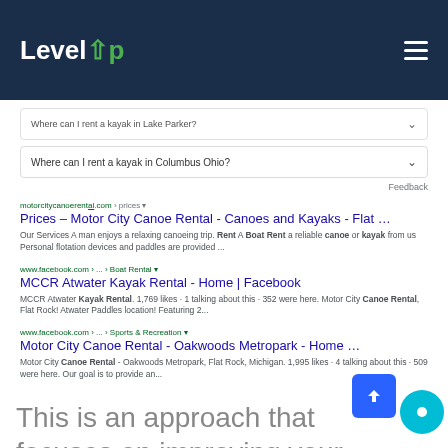[Figure (screenshot): LevelUp website navigation bar with white LevelUp logo on dark navy background and hamburger menu icon on the right]
[Figure (screenshot): Google search results page showing PAA dropdown questions about renting kayaks and organic search results for Motor City Canoe Rental and MCCR Atwater Kayak Rental on Facebook]
This is an approach that focuses on improving your search visibility on a global scale instead of trying to optimize your